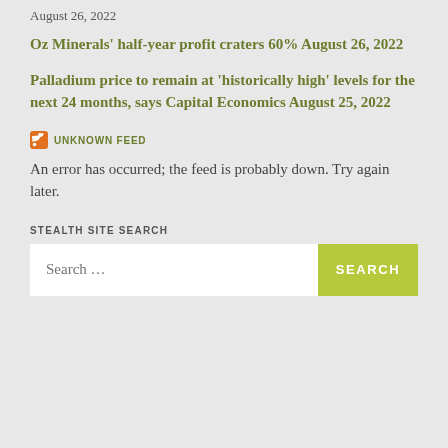August 26, 2022
Oz Minerals' half-year profit craters 60% August 26, 2022
Palladium price to remain at 'historically high' levels for the next 24 months, says Capital Economics August 25, 2022
UNKNOWN FEED
An error has occurred; the feed is probably down. Try again later.
STEALTH SITE SEARCH